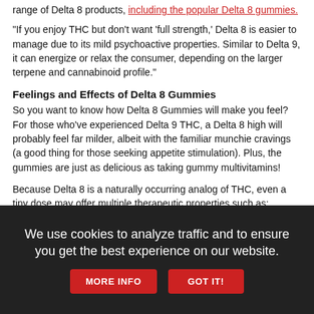range of Delta 8 products, including the popular Delta 8 gummies.
"If you enjoy THC but don't want 'full strength,' Delta 8 is easier to manage due to its mild psychoactive properties. Similar to Delta 9, it can energize or relax the consumer, depending on the larger terpene and cannabinoid profile."
Feelings and Effects of Delta 8 Gummies
So you want to know how Delta 8 Gummies will make you feel? For those who've experienced Delta 9 THC, a Delta 8 high will probably feel far milder, albeit with the familiar munchie cravings (a good thing for those seeking appetite stimulation). Plus, the gummies are just as delicious as taking gummy multivitamins!
Because Delta 8 is a naturally occurring analog of THC, even a tiny dose may offer multiple therapeutic properties such as:
Improved concentration and focus
Relaxed mental and physical state
We use cookies to analyze traffic and to ensure you get the best experience on our website.
MORE INFO
GOT IT!